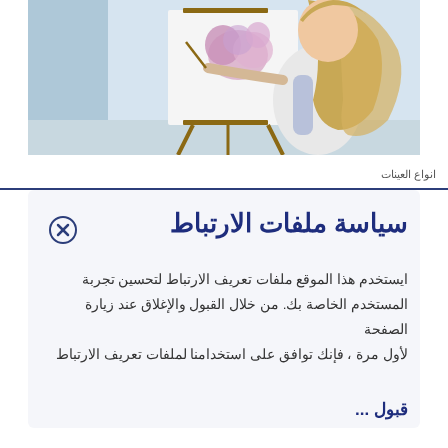[Figure (photo): A young woman with long blonde hair painting on a canvas on an easel, viewed from behind/side, painting flowers]
انواع العينات
سياسة ملفات الارتباط
ايستخدم هذا الموقع ملفات تعريف الارتباط لتحسين تجربة المستخدم الخاصة بك. من خلال القبول والإغلاق عند زيارة الصفحة لأول مرة ، فإنك توافق على استخدامنا لملفات تعريف الارتباط
قبول ...